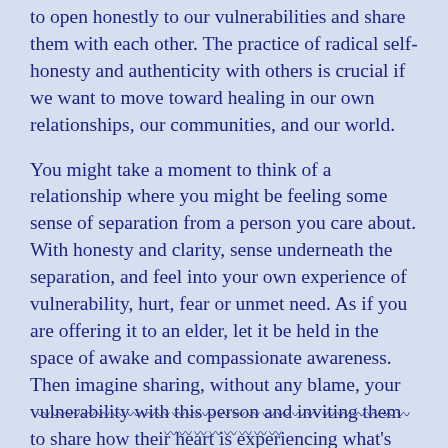to open honestly to our vulnerabilities and share them with each other. The practice of radical self-honesty and authenticity with others is crucial if we want to move toward healing in our own relationships, our communities, and our world.
You might take a moment to think of a relationship where you might be feeling some sense of separation from a person you care about. With honesty and clarity, sense underneath the separation, and feel into your own experience of vulnerability, hurt, fear or unmet need. As if you are offering it to an elder, let it be held in the space of awake and compassionate awareness. Then imagine sharing, without any blame, your vulnerability with this person and inviting them to share how their heart is experiencing what's going on. Can you sense what new possibilities for understanding and connection might open up?